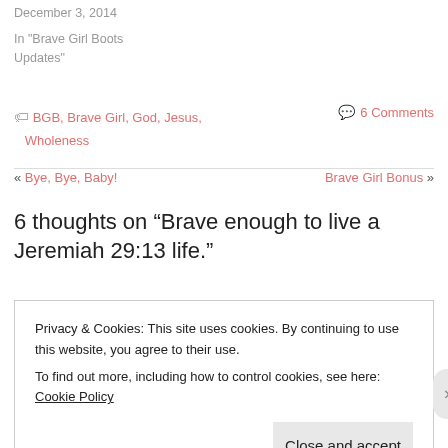December 3, 2014
In "Brave Girl Boots Updates"
BGB, Brave Girl, God, Jesus, Wholeness
6 Comments
« Bye, Bye, Baby!
Brave Girl Bonus »
6 thoughts on “Brave enough to live a Jeremiah 29:13 life.”
Privacy & Cookies: This site uses cookies. By continuing to use this website, you agree to their use.
To find out more, including how to control cookies, see here: Cookie Policy